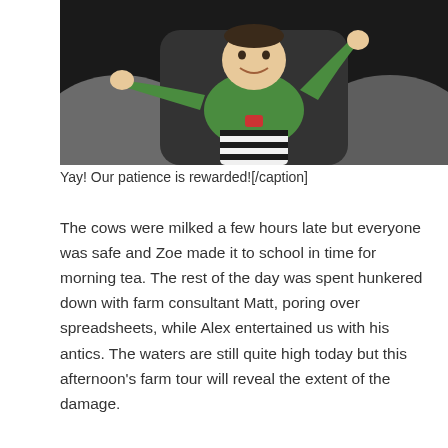[Figure (photo): A baby/toddler in a green top and black-and-white striped pants seated in a car seat or bouncy chair, arms outstretched toward the camera, smiling]
Yay! Our patience is rewarded![/caption]
The cows were milked a few hours late but everyone was safe and Zoe made it to school in time for morning tea. The rest of the day was spent hunkered down with farm consultant Matt, poring over spreadsheets, while Alex entertained us with his antics. The waters are still quite high today but this afternoon’s farm tour will reveal the extent of the damage.